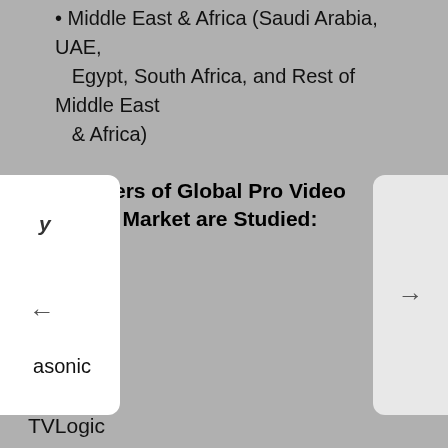Middle East & Africa (Saudi Arabia, UAE, Egypt, South Africa, and Rest of Middle East & Africa)
Top Players of Global Pro Video Monitors Market are Studied:
Panasonic
JVC
Ikegami
Marshall
TVLogic
Canon